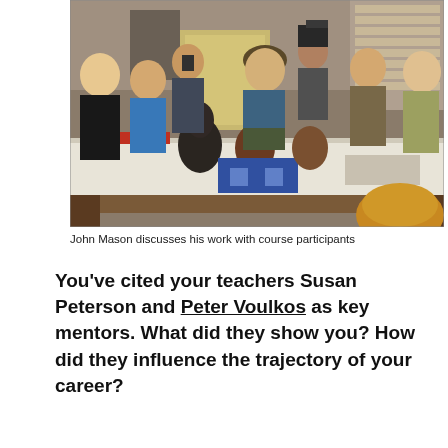[Figure (photo): John Mason stands at a large white table in a studio/warehouse setting, examining ceramic vessels with a group of course participants around him. Several people are photographing the work. Ceramic pieces and trays are on the table.]
John Mason discusses his work with course participants
You’ve cited your teachers Susan Peterson and Peter Voulkos as key mentors. What did they show you? How did they influence the trajectory of your career?